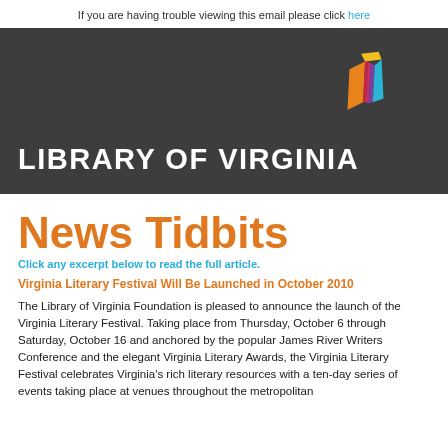If you are having trouble viewing this email please click here
[Figure (logo): Library of Virginia logo banner with colorful book icon on dark gray background and white text LIBRARY OF VIRGINIA]
News Tidbits
Click any excerpt below to read the full article.
Virginia Literary Festival Will Be Launched in October 2010
The Library of Virginia Foundation is pleased to announce the launch of the Virginia Literary Festival. Taking place from Thursday, October 6 through Saturday, October 16 and anchored by the popular James River Writers Conference and the elegant Virginia Literary Awards, the Virginia Literary Festival celebrates Virginia's rich literary resources with a ten-day series of events taking place at venues throughout the metropolitan